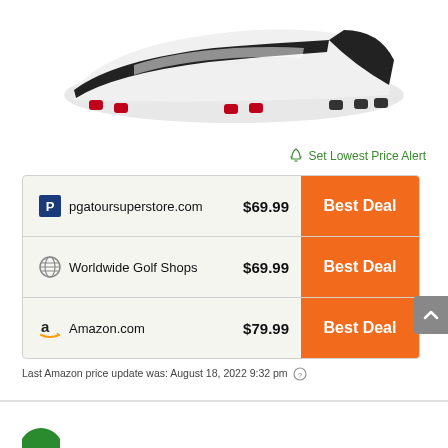[Figure (photo): Partial view of a golf shoe from below showing black and white shoe with red and black cleats on the sole]
🔔 Set Lowest Price Alert
| Store | Price | Action |
| --- | --- | --- |
| pgatoursuperstore.com | $69.99 | Best Deal |
| Worldwide Golf Shops | $69.99 | Best Deal |
| Amazon.com | $79.99 | Best Deal |
Last Amazon price update was: August 18, 2022 9:32 pm ⓘ